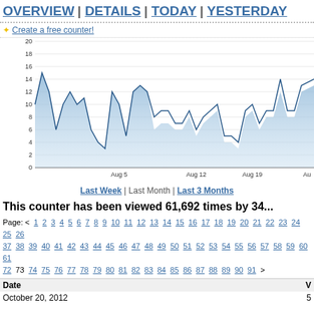OVERVIEW | DETAILS | TODAY | YESTERDAY
✦ Create a free counter!
[Figure (area-chart): Area chart showing visit counts over time from approximately late July to late August 2012, with values ranging from 0 to ~17-18, two overlapping area series in light blue]
Last Week | Last Month | Last 3 Months
This counter has been viewed 61,692 times by 34...
Page: < 1 2 3 4 5 6 7 8 9 10 11 12 13 14 15 16 17 18 19 20 21 22 23 24 25 26 37 38 39 40 41 42 43 44 45 46 47 48 49 50 51 52 53 54 55 56 57 58 59 60 61 72 73 74 75 76 77 78 79 80 81 82 83 84 85 86 87 88 89 90 91 >
| Date | V |
| --- | --- |
| October 20, 2012 | 5 |